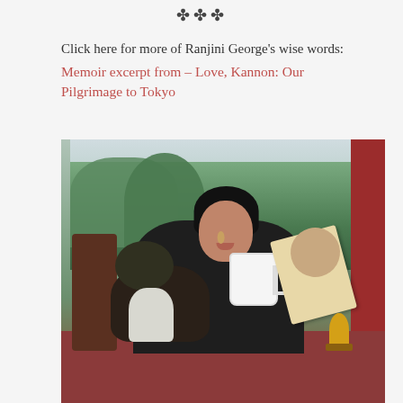❧❧❧
Click here for more of Ranjini George's wise words:
Memoir excerpt from – Love, Kannon: Our Pilgrimage to Tokyo
[Figure (photo): A woman with dark hair sitting outdoors on a red deck/porch, smiling and holding a white mug and reading a book, with a small fluffy black and white dog on her lap. Background shows green trees and red wooden pillars. A small yellow statue is visible on the table to the right.]